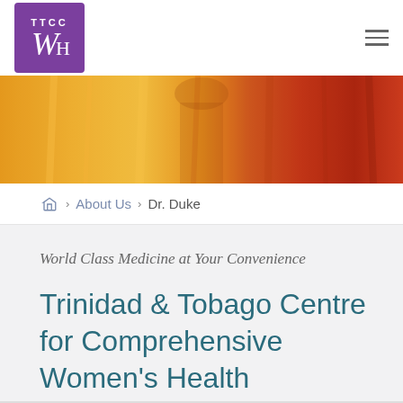[Figure (logo): TTCC Women's Health logo — purple square with TTCC text and stylized WH letters]
[Figure (photo): Hero banner photo showing a woman in orange/red traditional dress or sari, warm tones]
Home > About Us > Dr. Duke
World Class Medicine at Your Convenience
Trinidad & Tobago Centre for Comprehensive Women's Health